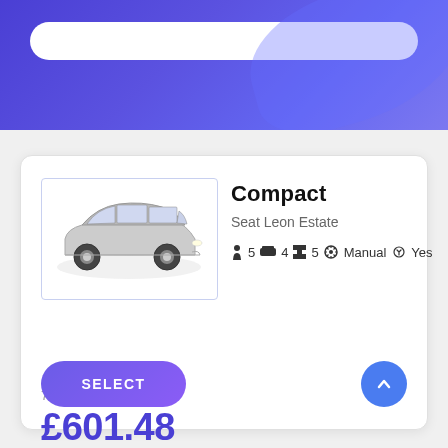[Figure (screenshot): Blue gradient header banner with a white search bar pill at the top]
[Figure (photo): Silver/white Seat Leon Estate compact wagon car on white background]
Compact
Seat Leon Estate
5  4  5  Manual  Yes
7.5/10  Vgood (131 Reviews)
7 days
£601.48
SELECT